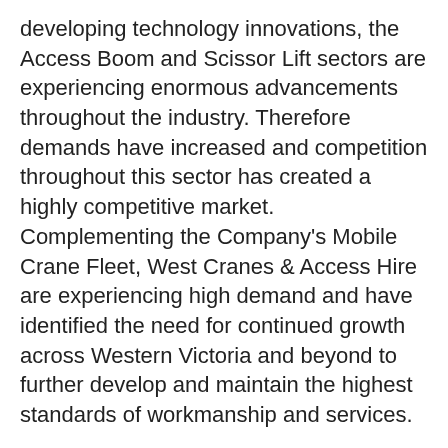developing technology innovations, the Access Boom and Scissor Lift sectors are experiencing enormous advancements throughout the industry. Therefore demands have increased and competition throughout this sector has created a highly competitive market. Complementing the Company's Mobile Crane Fleet, West Cranes & Access Hire are experiencing high demand and have identified the need for continued growth across Western Victoria and beyond to further develop and maintain the highest standards of workmanship and services.
Scissor lifts start from six metres and go up to 12 metres and booms start from 12 metres and go up to an impressive 33 metres (110f). If you need an elevated work platform, scissor lift or track scissor please call West Cranes & Access Hire.
West Cranes & Access Hire offer a large variety of